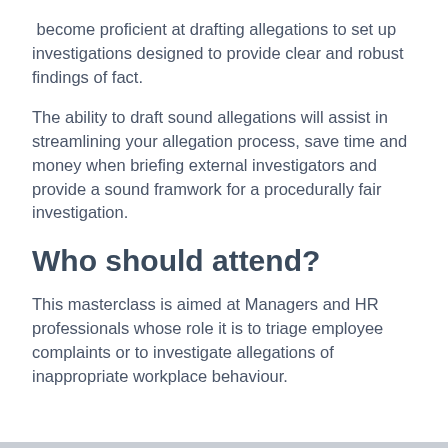become proficient at drafting allegations to set up investigations designed to provide clear and robust findings of fact.
The ability to draft sound allegations will assist in streamlining your allegation process, save time and money when briefing external investigators and provide a sound framwork for a procedurally fair investigation.
Who should attend?
This masterclass is aimed at Managers and HR professionals whose role it is to triage employee complaints or to investigate allegations of inappropriate workplace behaviour.